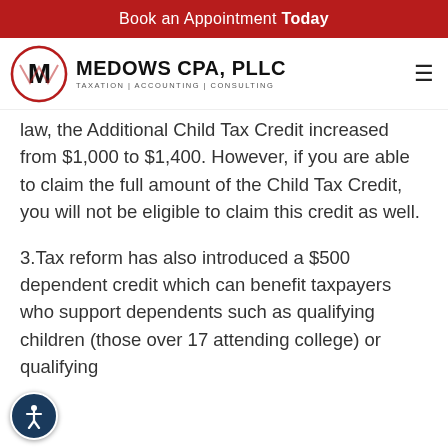Book an Appointment Today
[Figure (logo): Medows CPA, PLLC logo with circular emblem and text 'TAXATION | ACCOUNTING | CONSULTING']
law, the Additional Child Tax Credit increased from $1,000 to $1,400. However, if you are able to claim the full amount of the Child Tax Credit, you will not be eligible to claim this credit as well.
3.Tax reform has also introduced a $500 dependent credit which can benefit taxpayers who support dependents such as qualifying children (those over 17 attending college) or qualifying